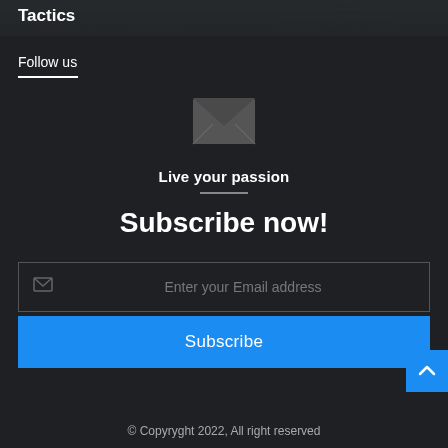[Figure (photo): Dark textured background image with 'Tactics' text overlay]
Tactics
Follow us
[Figure (illustration): Email envelope icon, grey color, centered]
Live your passion
Subscribe now!
Enter your Email address
Subscribe
© Copyryght 2022, All right reserved